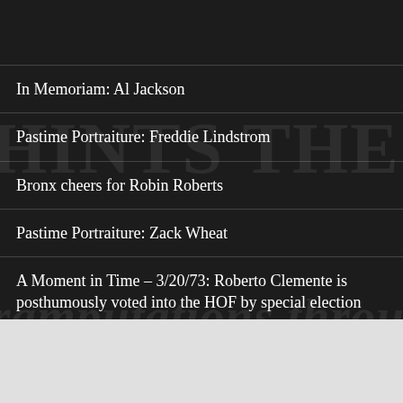In Memoriam: Al Jackson
Pastime Portraiture: Freddie Lindstrom
Bronx cheers for Robin Roberts
Pastime Portraiture: Zack Wheat
A Moment in Time – 3/20/73: Roberto Clemente is posthumously voted into the HOF by special election
Pastime Portraiture: Rocky Colavito
Pastime Portraiture: Stan Musial
[Figure (other): WooCommerce advertisement banner: 'Turn your hobby into a business in 8 steps']